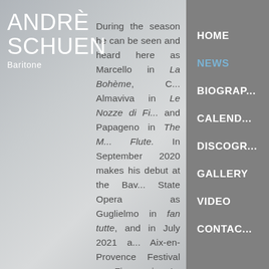ANDRÈ SCHUEN
Baritone
During the season he can be seen and heard here as Marcello in La Bohème, C... Almaviva in Le Nozze di F... and Papageno in The M... Flute. In September 2020 makes his debut at the Bava... State Opera as Guglielmo in ... fan tutte, and in July 2021 a... Aix-en-Provence Festival ... Figaro in Le Nozze di Figaro.
As a lied singer, Andrè Schu... on stage of London's Wig... Hall in November 2020 wi...
HOME
NEWS
BIOGRAPHY
CALENDAR
DISCOGRAPHY
GALLERY
VIDEO
CONTACT